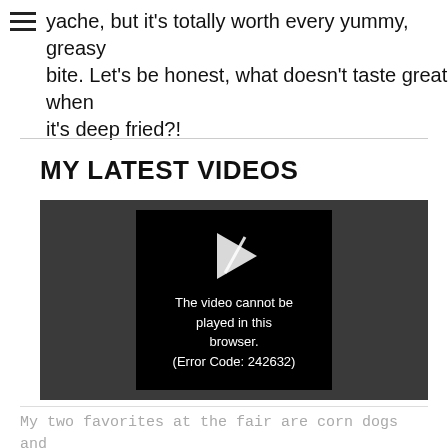yache, but it's totally worth every yummy, greasy bite. Let's be honest, what doesn't taste great when it's deep fried?!
MY LATEST VIDEOS
[Figure (screenshot): Video player showing error message: 'The video cannot be played in this browser. (Error Code: 242632)']
My two favorites at the fair are corn dogs and funnel cakes…the classics! Well, I already shared